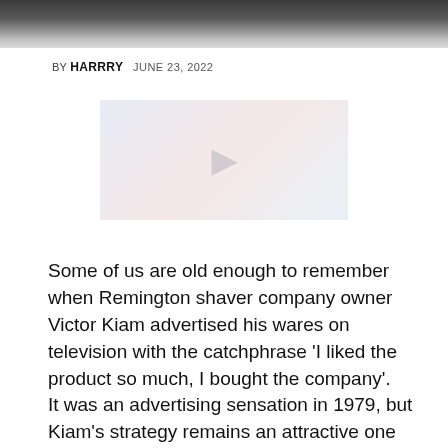[Figure (photo): Top portion of a photo showing people, partially cropped at the top of the page]
BY HARRRY   JUNE 23, 2022
[Figure (other): Advertisement or placeholder image block with faint text]
Some of us are old enough to remember when Remington shaver company owner Victor Kiam advertised his wares on television with the catchphrase 'I liked the product so much, I bought the company'.
It was an advertising sensation in 1979, but Kiam's strategy remains an attractive one for investors today.